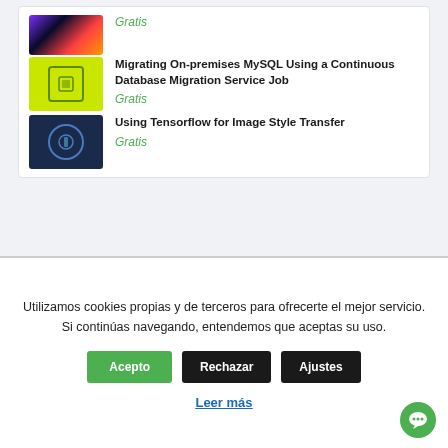Gratis
[Figure (screenshot): Thumbnail for Migrating On-premises MySQL course - yellow-green background with database icon]
Migrating On-premises MySQL Using a Continuous Database Migration Service Job
Gratis
[Figure (screenshot): Thumbnail for Using Tensorflow for Image Style Transfer course - dark blue background with circular icon]
Using Tensorflow for Image Style Transfer
Gratis
Utilizamos cookies propias y de terceros para ofrecerte el mejor servicio. Si continúas navegando, entendemos que aceptas su uso.
Acepto
Rechazar
Ajustes
Leer más